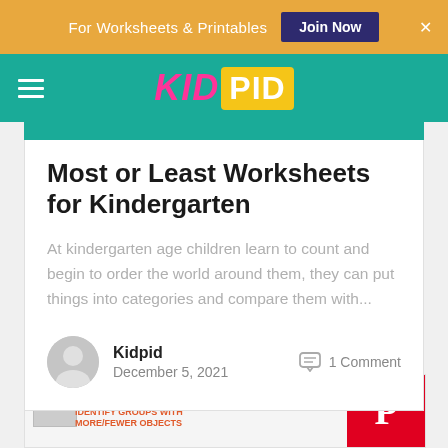For Worksheets & Printables  Join Now  ×
[Figure (logo): KidPid website logo — KID in pink italic on teal background, PID in white on yellow background]
Most or Least Worksheets for Kindergarten
At kindergarten age children learn to count and begin to order the world around them, they can put things into categories and compare them with...
Kidpid
December 5, 2021
1 Comment
[Figure (screenshot): Partial preview of a worksheet with text 'IDENTIFY GROUPS WITH MORE/FEWER OBJECTS' in red, and a Pinterest badge on the right]